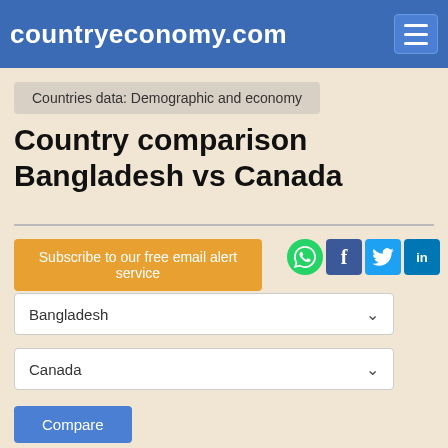countryeconomy.com
Countries data: Demographic and economy
Country comparison Bangladesh vs Canada
Subscribe to our free email alert service
Bangladesh
Canada
Compare
Bangladesh
Gouvernen